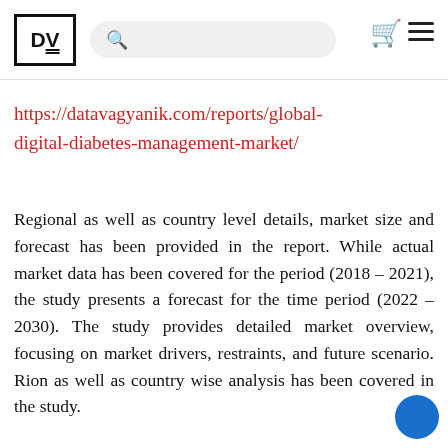DV [logo] [search bar] [bag icon] [hamburger menu]
https://datavagyanik.com/reports/global-digital-diabetes-management-market/
Regional as well as country level details, market size and forecast has been provided in the report. While actual market data has been covered for the period (2018 – 2021), the study presents a forecast for the time period (2022 – 2030). The study provides detailed market overview, focusing on market drivers, restraints, and future scenario. Rion as well as country wise analysis has been covered in the study.